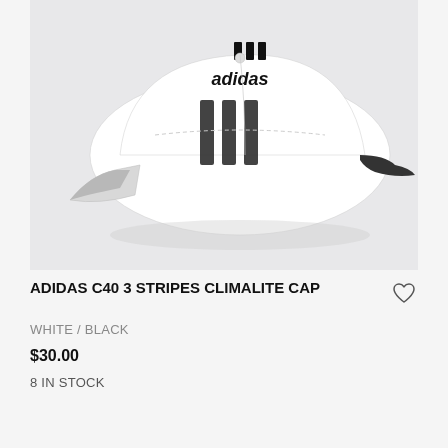[Figure (photo): White Adidas baseball cap with black Adidas logo and three black stripes on the brim, shown on a light grey background.]
ADIDAS C40 3 STRIPES CLIMALITE CAP
WHITE / BLACK
$30.00
8 IN STOCK